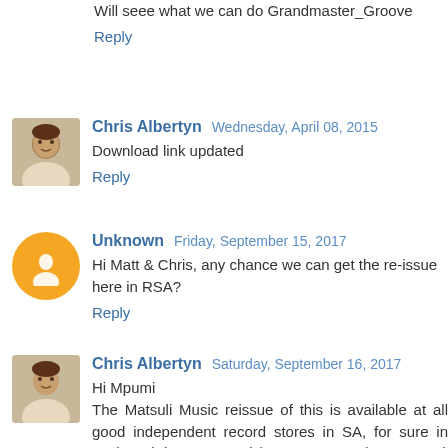Will seee what we can do Grandmaster_Groove
Reply
Chris Albertyn  Wednesday, April 08, 2015
Download link updated
Reply
Unknown  Friday, September 15, 2017
Hi Matt & Chris, any chance we can get the re-issue here in RSA?
Reply
Chris Albertyn  Saturday, September 16, 2017
Hi Mpumi
The Matsuli Music reissue of this is available at all good independent record stores in SA, for sure in Durban (Khaya Records), Cape Town (voomVoom) and Jhbg